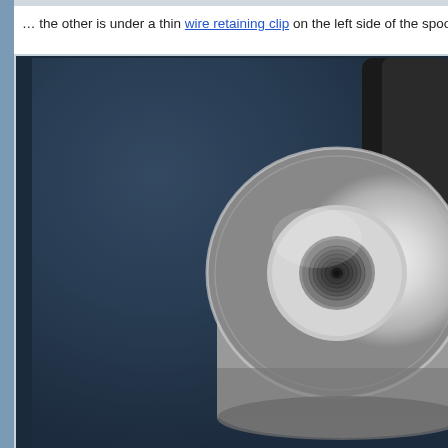… the other is under a thin wire retaining clip on the left side of the spool.
[Figure (photo): Close-up photograph of a metallic spool or cylindrical component viewed from an angle on a dark blue fabric/textile surface. The spool is silver/chrome colored with a circular disc top and a threaded or ribbed center hub visible.]